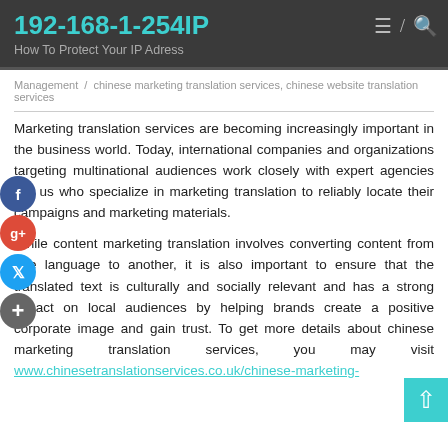192-168-1-254IP
How To Protect Your IP Adress
Management / chinese marketing translation services, chinese website translation services
Marketing translation services are becoming increasingly important in the business world. Today, international companies and organizations targeting multinational audiences work closely with expert agencies like us who specialize in marketing translation to reliably locate their campaigns and marketing materials.
While content marketing translation involves converting content from one language to another, it is also important to ensure that the translated text is culturally and socially relevant and has a strong impact on local audiences by helping brands create a positive corporate image and gain trust. To get more details about chinese marketing translation services, you may visit www.chinesetranslationservices.co.uk/chinese-marketing-